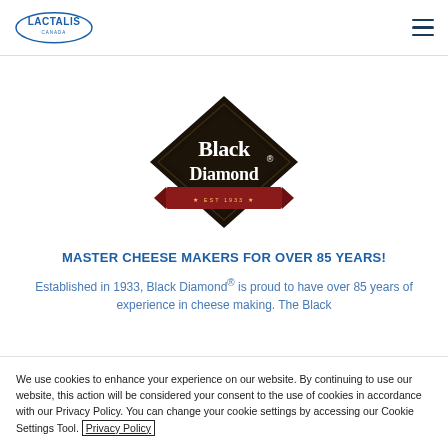Lactalis Canada logo and navigation menu
[Figure (logo): Black Diamond cheese brand logo — dark diamond shape with 'Black Diamond' text and a red ribbon banner]
MASTER CHEESE MAKERS FOR OVER 85 YEARS!
Established in 1933, Black Diamond® is proud to have over 85 years of experience in cheese making. The Black
We use cookies to enhance your experience on our website. By continuing to use our website, this action will be considered your consent to the use of cookies in accordance with our Privacy Policy. You can change your cookie settings by accessing our Cookie Settings Tool. Privacy Policy